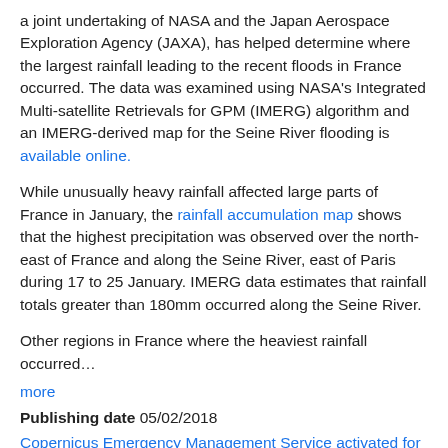a joint undertaking of NASA and the Japan Aerospace Exploration Agency (JAXA), has helped determine where the largest rainfall leading to the recent floods in France occurred. The data was examined using NASA's Integrated Multi-satellite Retrievals for GPM (IMERG) algorithm and an IMERG-derived map for the Seine River flooding is available online.
While unusually heavy rainfall affected large parts of France in January, the rainfall accumulation map shows that the highest precipitation was observed over the north-east of France and along the Seine River, east of Paris during 17 to 25 January. IMERG data estimates that rainfall totals greater than 180mm occurred along the Seine River.
Other regions in France where the heaviest rainfall occurred…
more
Publishing date 05/02/2018
Copernicus Emergency Management Service activated for floods in northern France and storm in Germany
[Figure (photo): Hazy outdoor photo showing a crane or pole silhouette against a misty sky with warm tones at the bottom]